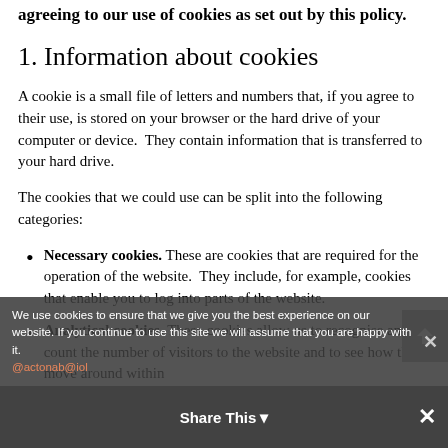agreeing to our use of cookies as set out by this policy.
1. Information about cookies
A cookie is a small file of letters and numbers that, if you agree to their use, is stored on your browser or the hard drive of your computer or device.  They contain information that is transferred to your hard drive.
The cookies that we could use can be split into the following categories:
Necessary cookies. These are cookies that are required for the operation of the website.  They include, for example, cookies that enable you to log into parts of the website.
Analytical cookies. These cookies allow us to recognise and count the number of visitors to the website and to see how they move around within